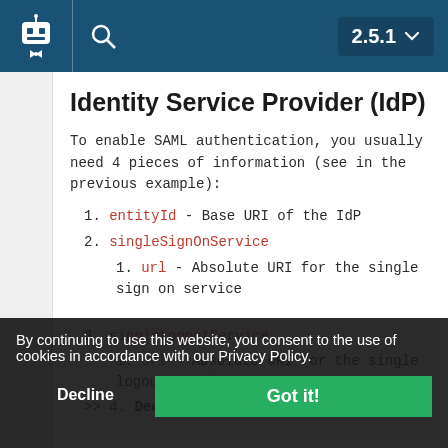2.5.1
Identity Service Provider (IdP)
To enable SAML authentication, you usually need 4 pieces of information (see in the previous example):
entityId - Base URI of the IdP
singleSignOnService
url - Absolute URI for the single sign on service
singleLogoutService
url - Absolute URI for the single logout service
By continuing to use this website, you consent to the use of cookies in accordance with our Privacy Policy.